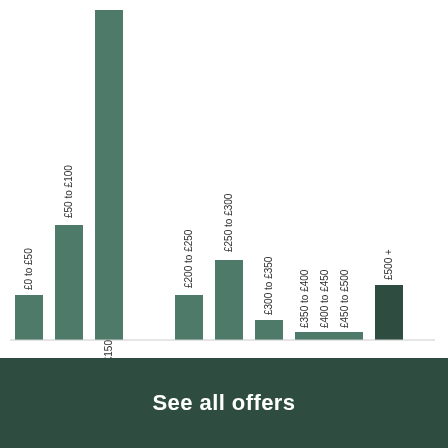[Figure (bar-chart): ]
See all offers